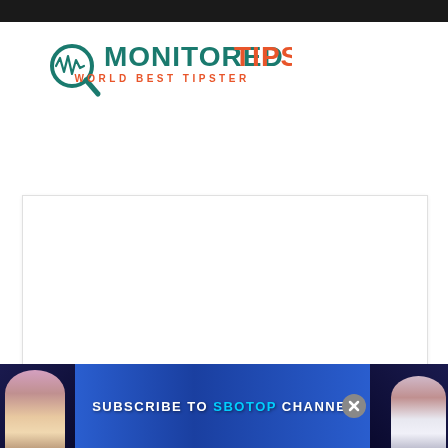[Figure (logo): MonitoredTips logo with waveform/magnifier icon in teal and orange text reading MONITOREDTIPS with tagline WORLD BEST TIPSTER]
[Figure (screenshot): White content area with orange button and circular icon, likely a website article/embed area]
[Figure (infographic): SBOTOP advertisement banner at the bottom with Subscribe to SBOTOP Channel text and two female figures on either side]